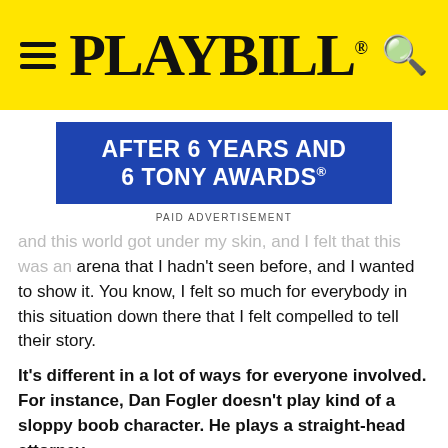PLAYBILL
[Figure (other): Paid advertisement banner: AFTER 6 YEARS AND 6 TONY AWARDS®]
PAID ADVERTISEMENT
and this world got under my skin, and I felt that this was an arena that I hadn't seen before, and I wanted to show it. You know, I felt so much for everybody in this situation down there that I felt compelled to tell their story.
It's different in a lot of ways for everyone involved. For instance, Dan Fogler doesn't play kind of a sloppy boob character. He plays a straight-head attorney.
JL: Yeah.
Where did you find Catalina Moreno who plays the mother?
JL: She's incredible. She was in a Kenny Lonergan play. I